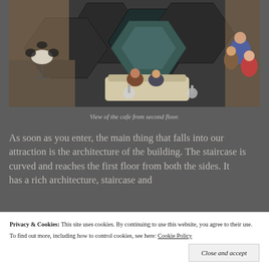[Figure (photo): Overhead view of a cafe/lobby area showing geometric dark tiled floor with hexagonal fountain/water feature, a cream sofa with people seated, small round tables with chairs on the left, and people walking on the right.]
View of the cafe from second floor.
As soon as you enter, the main thing that falls into our attraction is the architecture of the building. The staircase is curved and reaches the first floor from both the sides. The doors, architecture, staircase and
Privacy & Cookies: This site uses cookies. By continuing to use this website, you agree to their use.
To find out more, including how to control cookies, see here: Cookie Policy
Close and accept